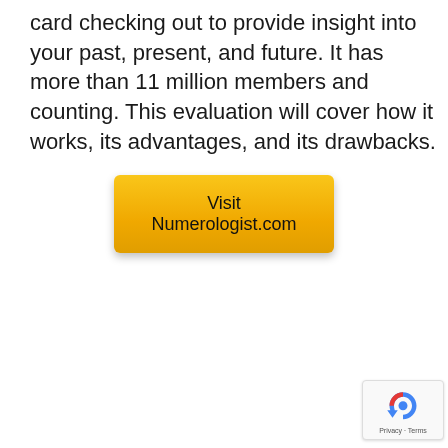card checking out to provide insight into your past, present, and future. It has more than 11 million members and counting. This evaluation will cover how it works, its advantages, and its drawbacks.
[Figure (other): Yellow call-to-action button with text 'Visit Numerologist.com']
[Figure (other): Google reCAPTCHA badge with rotating arrow icon and 'Privacy - Terms' text]